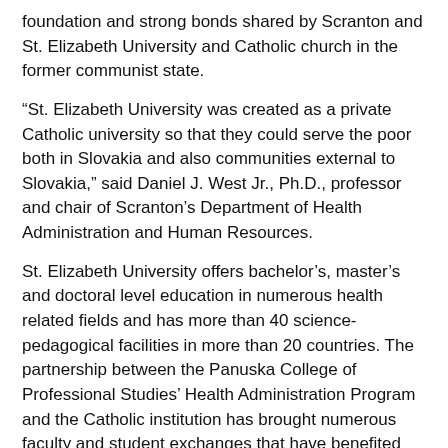foundation and strong bonds shared by Scranton and St. Elizabeth University and Catholic church in the former communist state.
“St. Elizabeth University was created as a private Catholic university so that they could serve the poor both in Slovakia and also communities external to Slovakia,” said Daniel J. West Jr., Ph.D., professor and chair of Scranton’s Department of Health Administration and Human Resources.
St. Elizabeth University offers bachelor’s, master’s and doctoral level education in numerous health related fields and has more than 40 science-pedagogical facilities in more than 20 countries. The partnership between the Panuska College of Professional Studies’ Health Administration Program and the Catholic institution has brought numerous faculty and student exchanges that have benefited both the education of health care providers and the care of patients across the globe.
In addition to its educational mission, St. Elizabeth University actively serves the sick and poor irrespective of the race…